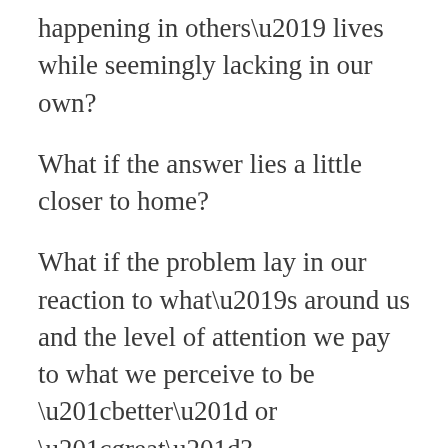happening in others' lives while seemingly lacking in our own?
What if the answer lies a little closer to home?
What if the problem lay in our reaction to what's around us and the level of attention we pay to what we perceive to be “better” or “great”?
I honestly believe that in order to successfully break the cycle of comparisonitis and the toxicity it brings, we need to seriously consider how we manage our own thoughts and understand the